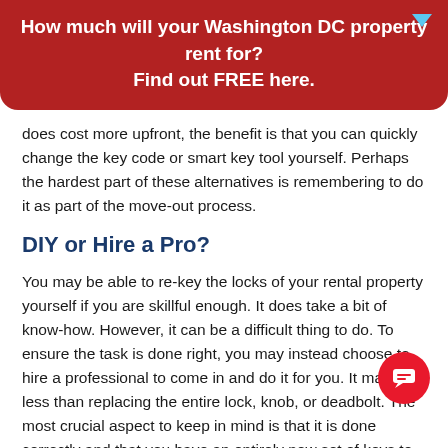How much will your Washington DC property rent for? Find out FREE here.
does cost more upfront, the benefit is that you can quickly change the key code or smart key tool yourself. Perhaps the hardest part of these alternatives is remembering to do it as part of the move-out process.
DIY or Hire a Pro?
You may be able to re-key the locks of your rental property yourself if you are skillful enough. It does take a bit of know-how. However, it can be a difficult thing to do. To ensure the task is done right, you may instead choose to hire a professional to come in and do it for you. It may cost less than replacing the entire lock, knob, or deadbolt. The most crucial aspect to keep in mind is that it is done correctly and that you have an entirely new set of keys to provide to your new tenant.